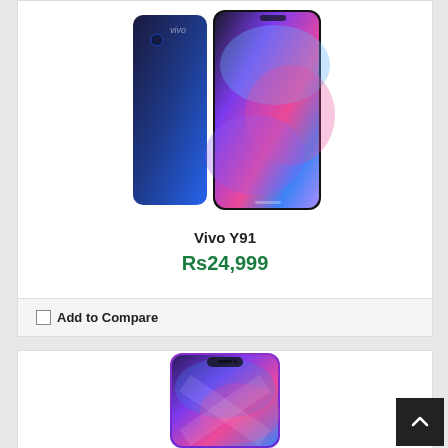[Figure (photo): Vivo Y91 smartphone shown from front and back, blue/black gradient color with colorful display screen]
Vivo Y91
Rs24,999
Add to Compare
[Figure (photo): Second smartphone (purple) shown from front, displaying colorful screen with notch]